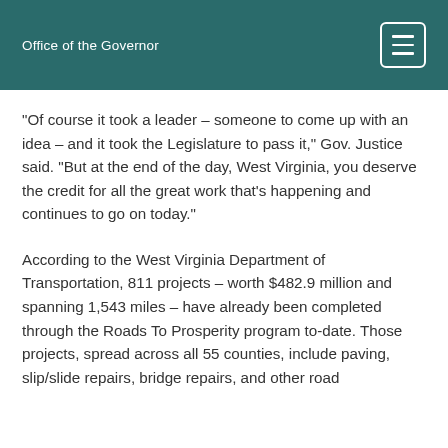Office of the Governor
“Of course it took a leader – someone to come up with an idea – and it took the Legislature to pass it,” Gov. Justice said. “But at the end of the day, West Virginia, you deserve the credit for all the great work that’s happening and continues to go on today.”
According to the West Virginia Department of Transportation, 811 projects – worth $482.9 million and spanning 1,543 miles – have already been completed through the Roads To Prosperity program to-date. Those projects, spread across all 55 counties, include paving, slip/slide repairs, bridge repairs, and other road